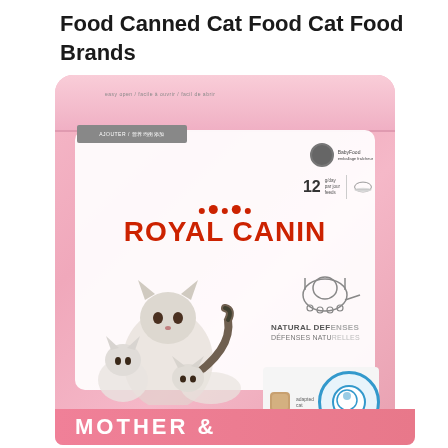Food Canned Cat Food Cat Food Brands
[Figure (photo): Royal Canin Mother & Babycat dry cat food bag in pink and white. Features the Royal Canin logo in red, images of a mother cat with kittens, Natural Defenses / Défenses Naturelles label, and MOTHER & text at the bottom in white on pink background.]